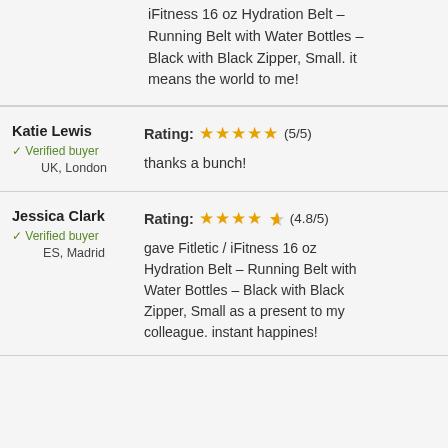Fitness 16 oz Hydration Belt Running Belt with Water Bottles – Black with Black Zipper, Small. it means the world to me!
Katie Lewis
✓ Verified buyer
UK, London
Rating: ★★★★★ (5/5)
thanks a bunch!
Jessica Clark
✓ Verified buyer
ES, Madrid
Rating: ★★★★½ (4.8/5)
gave Fitletic / iFitness 16 oz Hydration Belt – Running Belt with Water Bottles – Black with Black Zipper, Small as a present to my colleague. instant happines!